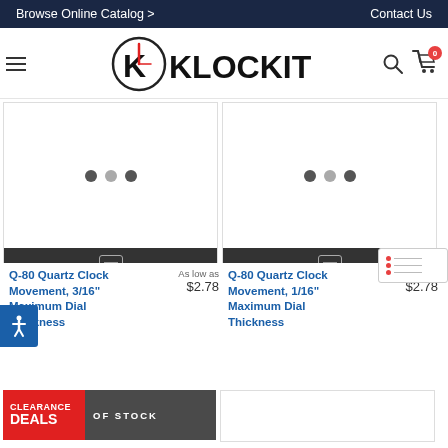Browse Online Catalog > | Contact Us
[Figure (logo): Klockit logo with hamburger menu, search icon, and cart icon showing 0 items]
[Figure (photo): Product image placeholder with three dots for Q-80 Quartz Clock Movement 3/16 inch Maximum Dial Thickness]
Q-80 Quartz Clock Movement, 3/16" Maximum Dial Thickness
As low as
$2.78
[Figure (photo): Product image placeholder with three dots for Q-80 Quartz Clock Movement 1/16 inch Maximum Dial Thickness]
Q-80 Quartz Clock Movement, 1/16" Maximum Dial Thickness
As low as
$2.78
[Figure (other): Clearance Deals badge with OUT OF STOCK bar]
[Figure (other): Empty product card bottom right]